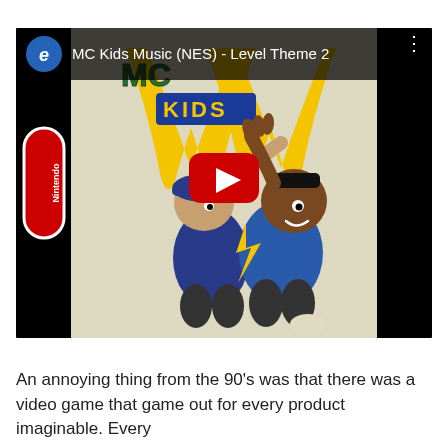[Figure (screenshot): YouTube video thumbnail showing MC Kids Music (NES) - Level Theme 2. Features cartoon artwork of two kids high-fiving in front of McDonald's golden arches with Nintendo branding on the left side. A red play button is visible in the center.]
An annoying thing from the 90’s was that there was a video game that game out for every product imaginable. Every